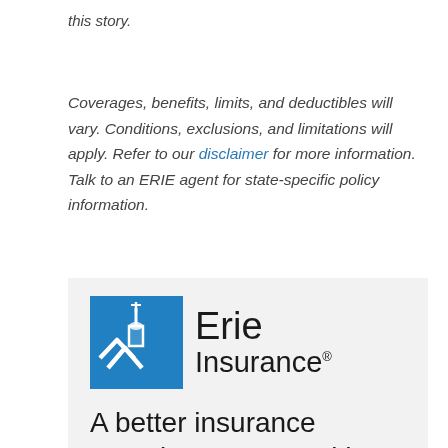this story.
Coverages, benefits, limits, and deductibles will vary. Conditions, exclusions, and limitations will apply. Refer to our disclaimer for more information. Talk to an ERIE agent for state-specific policy information.
[Figure (logo): Erie Insurance logo: blue building icon on the left, 'Erie Insurance' text in dark on the right]
A better insurance experience starts with ERIE.